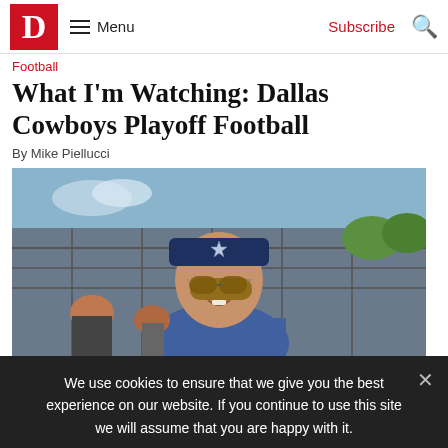D Magazine — Menu | Subscribe | Search
Football
What I'm Watching: Dallas Cowboys Playoff Football
By Mike Piellucci
[Figure (photo): Older man wearing a Dallas Cowboys cap with star logo and sunglasses, smiling, dressed in blue Cowboys attire, standing outdoors near a metal fence with crowds visible behind him.]
We use cookies to ensure that we give you the best experience on our website. If you continue to use this site we will assume that you are happy with it.